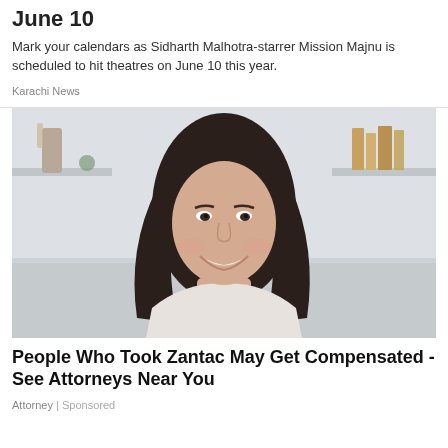June 10
Mark your calendars as Sidharth Malhotra-starrer Mission Majnu is scheduled to hit theatres on June 10 this year.
Karachi News
[Figure (photo): Smiling young woman with long dark hair against a blurred light indoor background]
People Who Took Zantac May Get Compensated - See Attorneys Near You
Attorney | Sponsored